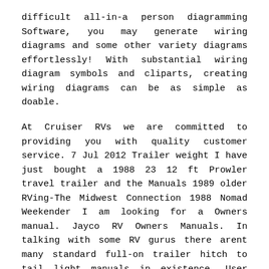difficult all-in-a person diagramming Software, you may generate wiring diagrams and some other variety diagrams effortlessly! With substantial wiring diagram symbols and cliparts, creating wiring diagrams can be as simple as doable.
At Cruiser RVs we are committed to providing you with quality customer service. 7 Jul 2012 Trailer weight I have just bought a 1988 23 12 ft Prowler travel trailer and the Manuals 1989 older RVing-The Midwest Connection 1988 Nomad Weekender I am looking for a Owners manual. Jayco RV Owners Manuals. In talking with some RV gurus there arent many standard full-on trailer hitch to tail light manuals in existence. User manuals Revell Toy Operating guides and Service manuals. Airstream 1960s Travel Trailer Owner Manuals. Scotty Owners Manual ca 1969. This is a video documentary of everything Todd did to resto. United Trailers 19985